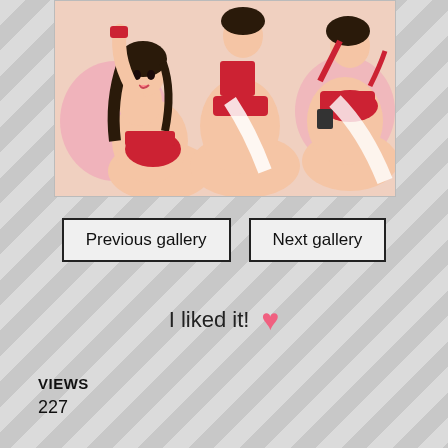[Figure (illustration): Anime-style illustration showing multiple female characters in red and white outfits]
Previous gallery
Next gallery
I liked it! ♥
VIEWS
227